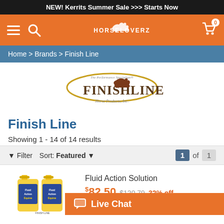NEW! Kerrits Summer Sale >>> Starts Now
[Figure (logo): HorseLoverZ navigation bar with hamburger menu, search icon, logo, and cart icon showing 0 items]
Home > Brands > Finish Line
[Figure (logo): Finish Line Horse Products, Inc. brand logo with horse image and gold oval]
Finish Line
Showing 1 - 14 of 14 results
Filter  Sort: Featured  1 of 1
Fluid Action Solution
$82.50 $120.79 32% off
[Figure (photo): Fluid Action Solution product bottles with yellow caps]
Live Chat